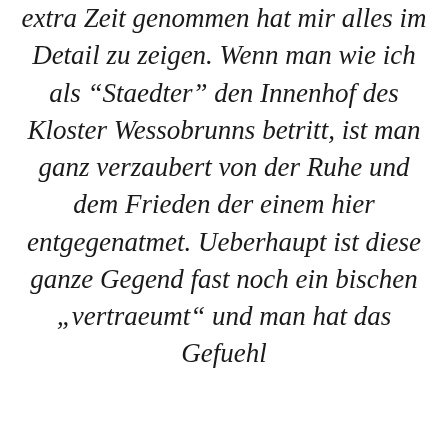extra Zeit genommen hat mir alles im Detail zu zeigen. Wenn man wie ich als "Staedter" den Innenhof des Kloster Wessobrunns betritt, ist man ganz verzaubert von der Ruhe und dem Frieden der einem hier entgegenatmet. Ueberhaupt ist diese ganze Gegend fast noch ein bischen "vertraeumt" und man hat das Gefuehl